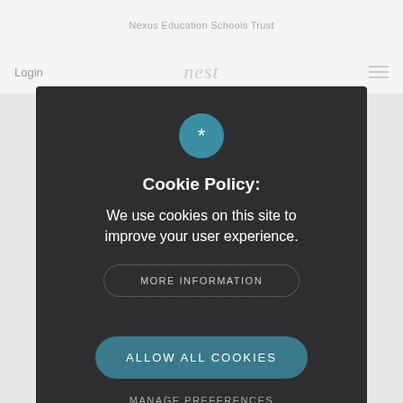Nexus Education Schools Trust
Login
[Figure (screenshot): Browser navigation bar with Login text on left, nest logo in center, and hamburger menu on right]
[Figure (other): Cookie icon circle with asterisk/star symbol in teal color]
Cookie Policy:
We use cookies on this site to improve your user experience.
MORE INFORMATION
ALLOW ALL COOKIES
MANAGE PREFERENCES